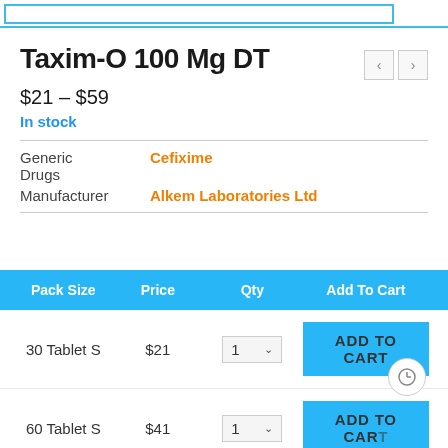Taxim-O 100 Mg DT
$21 – $59
In stock
| Pack Size | Price | Qty | Add To Cart |
| --- | --- | --- | --- |
| 30 Tablet S | $21 | 1 | ADD TO CART |
| 60 Tablet S | $41 | 1 | ADD TO CART |